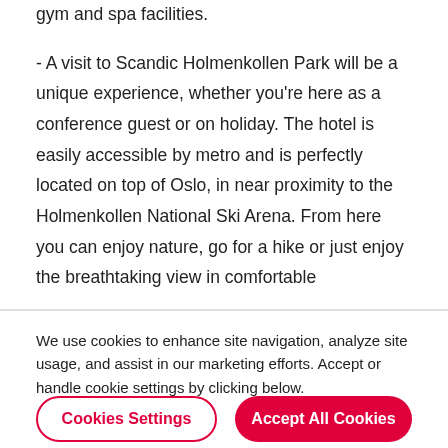gym and spa facilities.
- A visit to Scandic Holmenkollen Park will be a unique experience, whether you're here as a conference guest or on holiday. The hotel is easily accessible by metro and is perfectly located on top of Oslo, in near proximity to the Holmenkollen National Ski Arena. From here you can enjoy nature, go for a hike or just enjoy the breathtaking view in comfortable
We use cookies to enhance site navigation, analyze site usage, and assist in our marketing efforts. Accept or handle cookie settings by clicking below.
Cookies Settings
Accept All Cookies